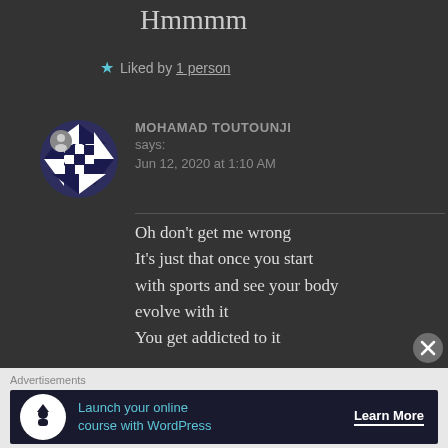Hmmmm
★ Liked by 1 person
[Figure (illustration): Avatar image for Mohamad Toutounji: a circular avatar with a dark blue and white geometric grid/diamond pattern, with a small person icon in the top-left corner]
MOHAMAD TOUTOUNJI says: Jun 12, 2020 at 1:10 AM
Oh don't get me wrong
It's just that once you start with sports and see your body evolve with it
You get addicted to it
Advertisements
[Figure (screenshot): Advertisement banner: dark navy background with a white circle icon containing an upload/person symbol, teal text reading 'Launch your online course with WordPress', and a white underlined 'Learn More' button]